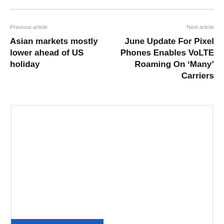Previous article
Next article
Asian markets mostly lower ahead of US holiday
June Update For Pixel Phones Enables VoLTE Roaming On ‘Many’ Carriers
[Figure (other): Advertisement box with site name 'News' and URL https://pronewsjournal.com]
News
https://pronewsjournal.com